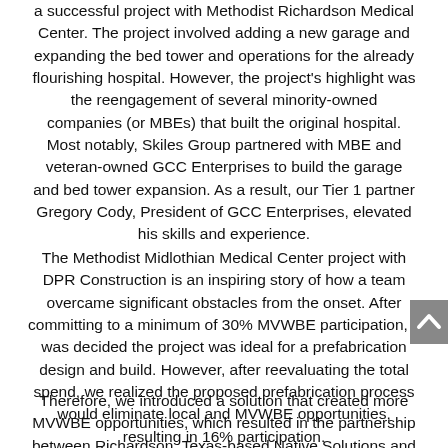a successful project with Methodist Richardson Medical Center. The project involved adding a new garage and expanding the bed tower and operations for the already flourishing hospital. However, the project's highlight was the reengagement of several minority-owned companies (or MBEs) that built the original hospital. Most notably, Skiles Group partnered with MBE and veteran-owned GCC Enterprises to build the garage and bed tower expansion. As a result, our Tier 1 partner Gregory Cody, President of GCC Enterprises, elevated his skills and experience.
The Methodist Midlothian Medical Center project with DPR Construction is an inspiring story of how a team overcame significant obstacles from the onset. After committing to a minimum of 30% MVWBE participation, it was decided the project was ideal for a prefabrication design and build. However, after reevaluating the total spend, we realized the proposed prefabrication process would eliminate local and MVWBE opportunities, resulting in 16% participation.
Therefore, we introduced a solution that created more MVWBE opportunities, which resulted in the partnership between Richardson, Texas-based Native Solutions and Polk Mechanical